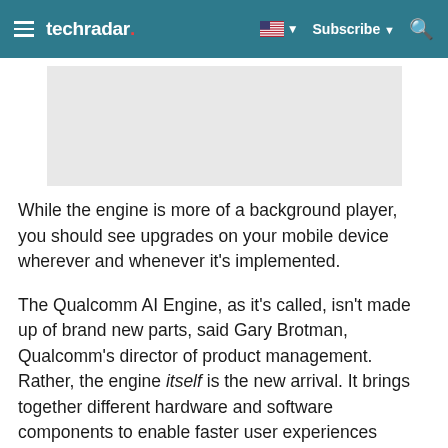techradar | Subscribe
[Figure (other): Advertisement placeholder gray box]
While the engine is more of a background player, you should see upgrades on your mobile device wherever and whenever it's implemented.
The Qualcomm AI Engine, as it's called, isn't made up of brand new parts, said Gary Brotman, Qualcomm's director of product management. Rather, the engine itself is the new arrival. It brings together different hardware and software components to enable faster user experiences through on-device AI processing.